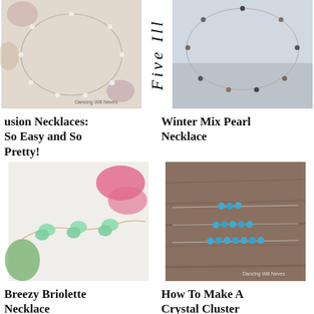[Figure (photo): Pearl necklace arranged in a circle on a floral background]
[Figure (illustration): Vertical text reading 'Five Ill']
[Figure (photo): Silver wire necklace with mixed beads on snow background]
usion Necklaces: So Easy and So Pretty!
Winter Mix Pearl Necklace
[Figure (photo): Gold chain necklace with mint green flower briolette beads]
[Figure (photo): Triple strand wire necklace with turquoise crystal cluster beads on wood]
Breezy Briolette Necklace
How To Make A Crystal Cluster